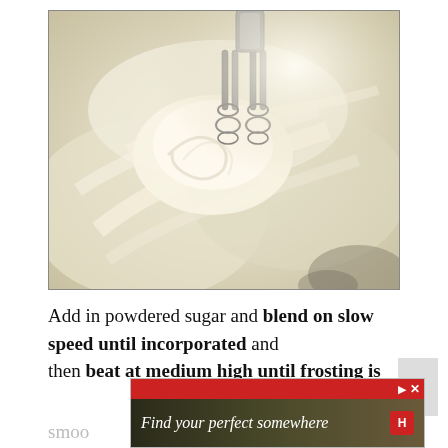[Figure (photo): Close-up photo of white creamy frosting being mixed with electric hand mixer beaters, swirled texture visible]
Add in powdered sugar and blend on slow speed until incorporated and then beat at medium high until frosting is smoo[th]
[Figure (other): Advertisement banner: 'Find your perfect somewhere' with outdoor photo background, red top bar with navigation arrows and close button, red H logo]